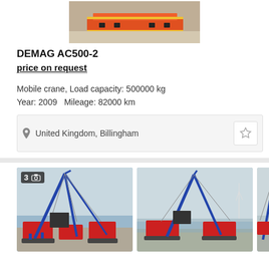[Figure (photo): Aerial or ground photo of heavy transport vehicle / crane on a flat surface, top portion of image visible]
DEMAG AC500-2
price on request
Mobile crane, Load capacity: 500000 kg
Year: 2009   Mileage: 82000 km
United Kingdom, Billingham
[Figure (photo): Large blue crawler crane with red base units, workers visible, outdoor port/industrial setting]
[Figure (photo): Large blue crawler crane from distance, red base units, outdoor waterfront/industrial setting]
[Figure (photo): Partial view of third crane photo, cropped]